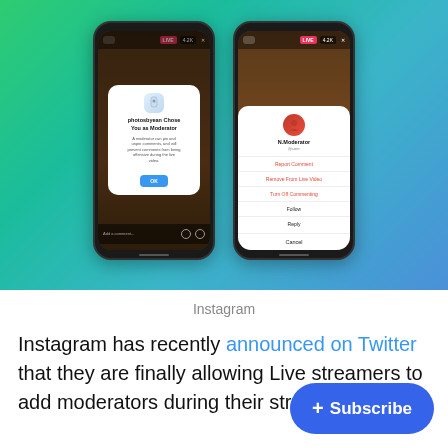[Figure (screenshot): Two smartphone screenshots showing Instagram Live moderator feature on a green-to-blue gradient background. Left phone shows a modal dialog 'photosbyean Chose You as Moderator'. Right phone shows an action sheet with options: Report Comment, Remove From Live Video, Turn Off Commenting, Follow, Reply, and Cancel.]
Instagram
Instagram has recently announced on Twitter that they are finally allowing Live streamers to add moderators during their streams.